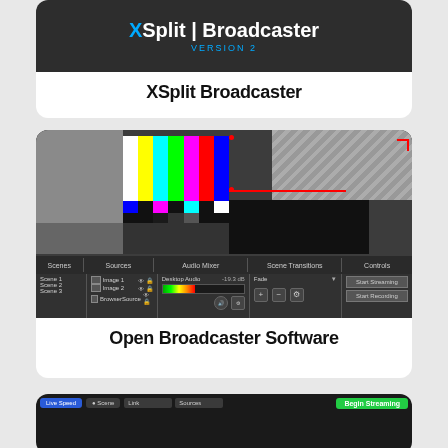[Figure (screenshot): XSplit Broadcaster Version 2 application logo on dark background]
XSplit Broadcaster
[Figure (screenshot): Open Broadcaster Software (OBS) application interface showing color bars test pattern in the preview window, with scenes, sources, audio mixer, scene transitions, and controls panels at the bottom]
Open Broadcaster Software
[Figure (screenshot): Partially visible third streaming software application screenshot at the bottom of the page]